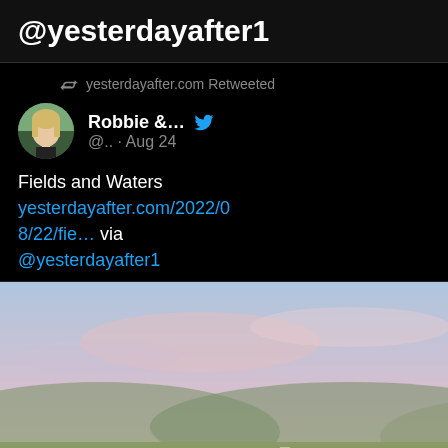@yesterdayafter1
yesterdayafter.com Retweeted
Robbie &… @.. · Aug 24
Fields and Waters
yesterdayafter.com/2022/08/22/fie… via @yesterdayafter1
[Figure (illustration): Watercolor painting of a countryside landscape with a winding path, wildflowers in foreground, rolling hills and pink sky in background.]
yesterdayafter.com
Fields and Waters
1  1